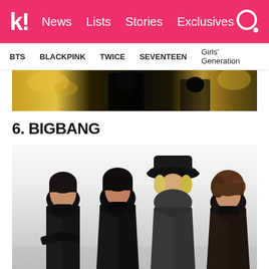k! News Lists Stories Exclusives
BTS BLACKPINK TWICE SEVENTEEN Girls' Generation
[Figure (photo): Partial image of a dark moody scene visible at top of page, appearing to be a music video or photo shoot still]
6. BIGBANG
[Figure (photo): BIGBANG group photo showing four members dressed in dark/black outfits against a white background. Members are posing stylishly, one wearing a black fedora hat.]